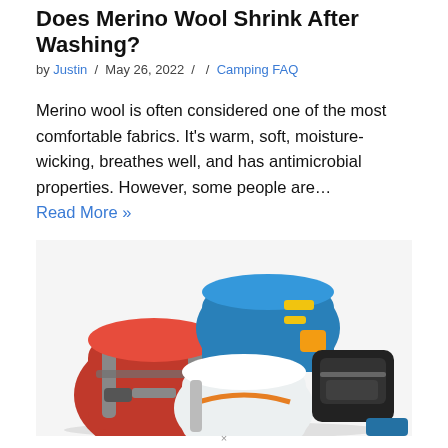Does Merino Wool Shrink After Washing?
by Justin / May 26, 2022 / / Camping FAQ
Merino wool is often considered one of the most comfortable fabrics. It’s warm, soft, moisture-wicking, breathes well, and has antimicrobial properties. However, some people are… Read More »
[Figure (photo): A pile of colorful camping/hiking backpacks: a large red backpack with gray straps on the left, a bright blue backpack with yellow accents on top, a white/gray backpack with orange zipper in the center, and a black bag on the right. White background.]